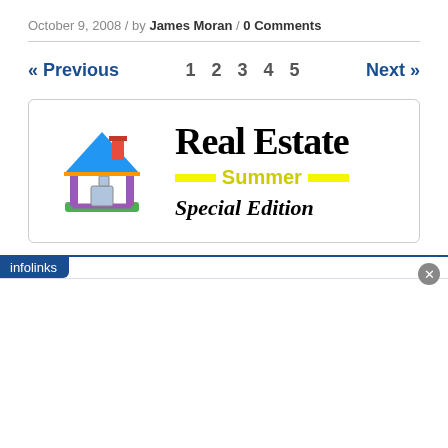October 9, 2008 / by James Moran / 0 Comments
« Previous  1  2  3  4  5  Next »
[Figure (logo): Real Estate Summer Special Edition logo with colorful house illustration]
infolinks